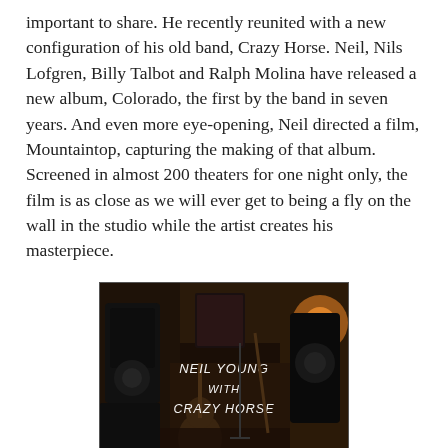important to share. He recently reunited with a new configuration of his old band, Crazy Horse. Neil, Nils Lofgren, Billy Talbot and Ralph Molina have released a new album, Colorado, the first by the band in seven years. And even more eye-opening, Neil directed a film, Mountaintop, capturing the making of that album. Screened in almost 200 theaters for one night only, the film is as close as we will ever get to being a fly on the wall in the studio while the artist creates his masterpiece.
[Figure (photo): A dark recording studio interior with guitars, speakers, and equipment visible. Text overlay reads 'NEIL YOUNG WITH CRAZY HORSE' in white handwritten-style lettering.]
'Mountaintop Sessions' - Neil Young & Crazy Horse
The setting is somewhere high up in the clouds of the Colorado mountains. Pinpointing the exact location isn't